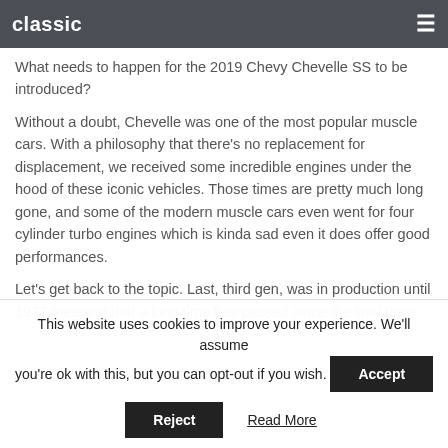classic
What needs to happen for the 2019 Chevy Chevelle SS to be introduced?
Without a doubt, Chevelle was one of the most popular muscle cars. With a philosophy that there’s no replacement for displacement, we received some incredible engines under the hood of these iconic vehicles. Those times are pretty much long gone, and some of the modern muscle cars even went for four cylinder turbo engines which is kinda sad even it does offer good performances.
Let’s get back to the topic. Last, third gen, was in production until 1977 meaning that a long time has passed since the final units
This website uses cookies to improve your experience. We’ll assume you’re ok with this, but you can opt-out if you wish. Accept
Reject   Read More